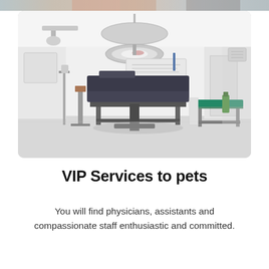[Figure (photo): Partial strip of a photo at the very top of the page, showing what appears to be people in a medical or veterinary setting — cropped, only the bottom edge visible.]
[Figure (photo): Interior of a medical examination or operating room with white walls, a large overhead surgical lamp, an examination/operating table with dark padding, medical equipment on a rolling stand, and a secondary bed/gurney on the right. The room is bright and clinical.]
VIP Services to pets
You will find physicians, assistants and compassionate staff enthusiastic and committed.